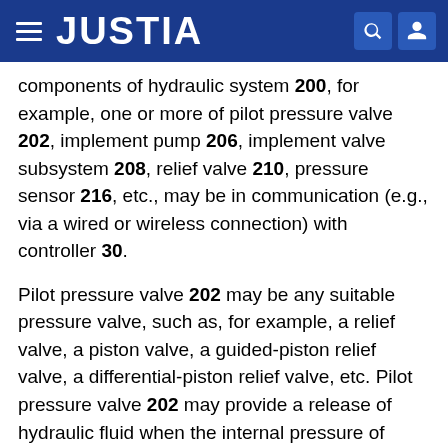JUSTIA
components of hydraulic system 200, for example, one or more of pilot pressure valve 202, implement pump 206, implement valve subsystem 208, relief valve 210, pressure sensor 216, etc., may be in communication (e.g., via a wired or wireless connection) with controller 30.
Pilot pressure valve 202 may be any suitable pressure valve, such as, for example, a relief valve, a piston valve, a guided-piston relief valve, a differential-piston relief valve, etc. Pilot pressure valve 202 may provide a release of hydraulic fluid when the internal pressure of hydraulic system 200 exceeds a pressure of approximately 2500 kPa to approximately 4000 kPa, for example, approximately 3800 kPa. Additionally, pilot pressure valve 202 may be coupled to one or more reservoirs (not shown) of hydraulic fluid. In one aspect, pilot pressure valve 202 may be configured to accommodate directed